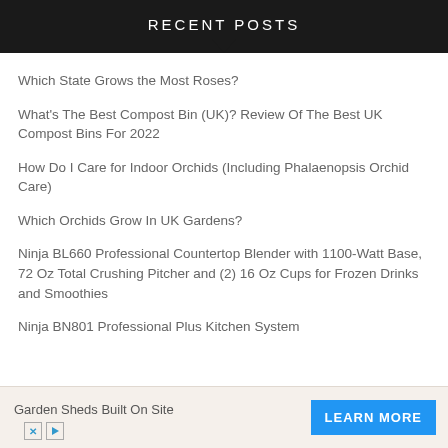RECENT POSTS
Which State Grows the Most Roses?
What's The Best Compost Bin (UK)? Review Of The Best UK Compost Bins For 2022
How Do I Care for Indoor Orchids (Including Phalaenopsis Orchid Care)
Which Orchids Grow In UK Gardens?
Ninja BL660 Professional Countertop Blender with 1100-Watt Base, 72 Oz Total Crushing Pitcher and (2) 16 Oz Cups for Frozen Drinks and Smoothies
Ninja BN801 Professional Plus Kitchen System
Garden Sheds Built On Site